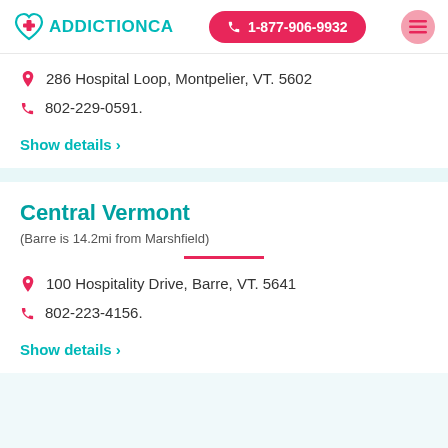ADDICTIONCA  1-877-906-9932
286 Hospital Loop, Montpelier, VT. 5602
802-229-0591.
Show details >
Central Vermont
(Barre is 14.2mi from Marshfield)
100 Hospitality Drive, Barre, VT. 5641
802-223-4156.
Show details >